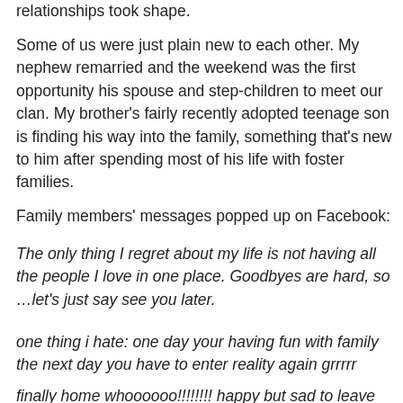relationships took shape.
Some of us were just plain new to each other. My nephew remarried and the weekend was the first opportunity his spouse and step-children to meet our clan. My brother's fairly recently adopted teenage son is finding his way into the family, something that's new to him after spending most of his life with foster families.
Family members' messages popped up on Facebook:
The only thing I regret about my life is not having all the people I love in one place. Goodbyes are hard, so …let's just say see you later.
one thing i hate: one day your having fun with family the next day you have to enter reality again grrrrr
finally home whoooooo!!!!!!!! happy but sad to leave family